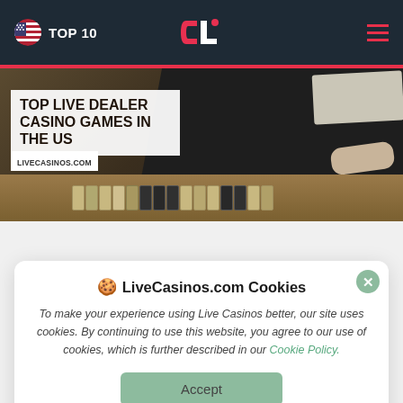TOP 10 | CL (logo) | menu
[Figure (photo): Hero image showing a casino dealer's torso in dark vest and white shirt, with casino chips arranged on a table. White text overlay reads TOP LIVE DEALER CASINO GAMES IN THE US. Bottom left label reads LIVECASINOS.COM]
TOP LIVE DEALER CASINO GAMES IN THE US
LiveCasinos.com Cookies

To make your experience using Live Casinos better, our site uses cookies. By continuing to use this website, you agree to our use of cookies, which is further described in our Cookie Policy.
Accept
Before you even start looking, you always have to